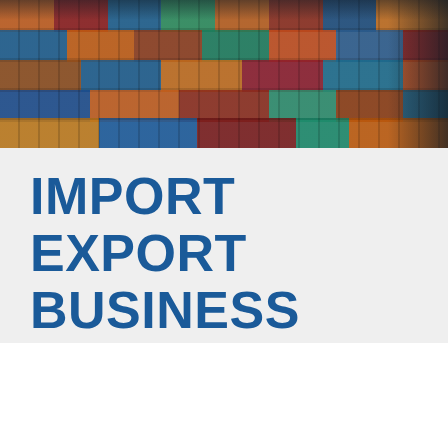[Figure (photo): Aerial/side view of a cargo ship loaded with colorful shipping containers (orange, red, blue, teal) stacked multiple rows high]
IMPORT EXPORT BUSINESS